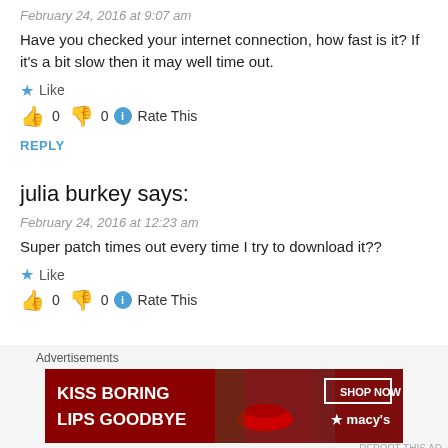February 24, 2016 at 9:07 am
Have you checked your internet connection, how fast is it? If it's a bit slow then it may well time out.
Like
👍 0 👎 0 ℹ Rate This
REPLY
julia burkey says:
February 24, 2016 at 12:23 am
Super patch times out every time I try to download it??
Like
👍 0 👎 0 ℹ Rate This
[Figure (other): Advertisement banner for Macy's: KISS BORING LIPS GOODBYE with SHOP NOW button and Macy's star logo]
Advertisements